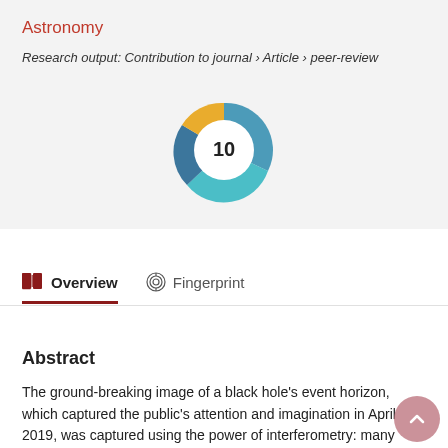Astronomy
Research output: Contribution to journal › Article › peer-review
[Figure (other): Altmetric donut badge showing score of 10, rendered as circular icon with blue, teal and gold colors around a white center circle with the number 10]
Overview   Fingerprint
Abstract
The ground-breaking image of a black hole's event horizon, which captured the public's attention and imagination in April 2019, was captured using the power of interferometry: many separate telescopes working together to observe the cosmos in